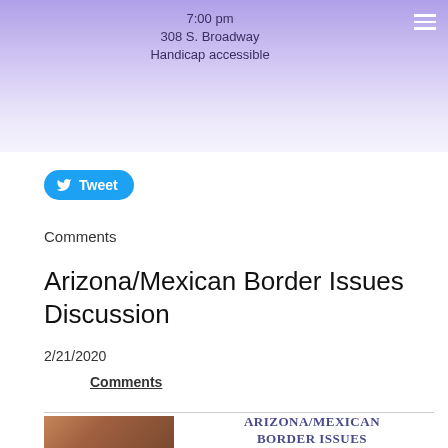[Figure (screenshot): Purple gradient banner header with text showing '7:00 pm', '308 S. Broadway', 'Handicap accessible' and a hamburger menu icon on the right]
[Figure (other): Twitter Tweet button with bird icon]
Comments
Arizona/Mexican Border Issues Discussion
2/21/2020
Comments
[Figure (photo): Partial image at bottom left showing what appears to be a brownish object or person]
ARIZONA/MEXICAN BORDER ISSUES
A Q&A session & discussion with Tricia Decker